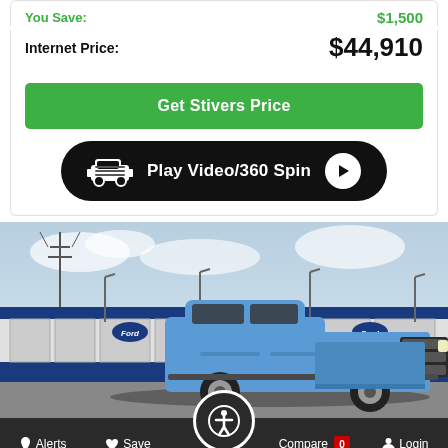You Save: $1,500
Internet Price: $44,910
Get Stivers Price
[Figure (other): Play Video/360 Spin button with car icon and play arrow]
[Figure (photo): Blue Ford F-150 pickup truck parked in front of a Ford dealership building with power lines and street lights in background]
Alerts  Save  Compare 0  Login